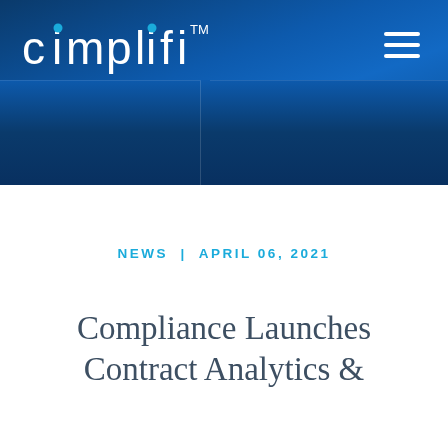[Figure (logo): Cimplifi logo in white text on dark blue header background, with hamburger menu icon top right]
NEWS  |  APRIL 06, 2021
Compliance Launches Contract Analytics &